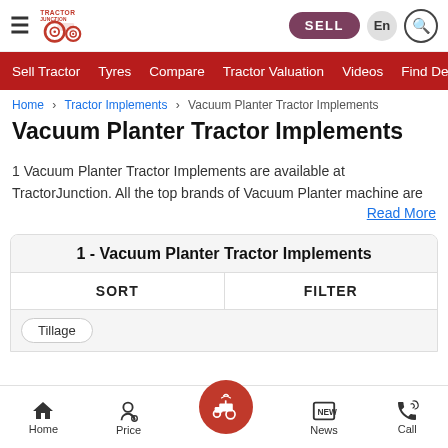Tractor Junction — SELL | En | Search
Sell Tractor  Tyres  Compare  Tractor Valuation  Videos  Find Dealer
Home > Tractor Implements > Vacuum Planter Tractor Implements
Vacuum Planter Tractor Implements
1 Vacuum Planter Tractor Implements are available at TractorJunction. All the top brands of Vacuum Planter machine are
Read More
1 - Vacuum Planter Tractor Implements
SORT   FILTER
Tillage
Home  Price  [tractor icon]  News  Call